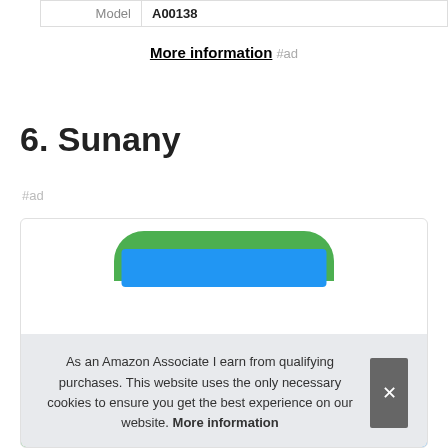| Model | A00138 |
More information #ad
6. Sunany
#ad
[Figure (photo): Product image of Sunany item showing green and blue colored device inside a rounded card]
As an Amazon Associate I earn from qualifying purchases. This website uses the only necessary cookies to ensure you get the best experience on our website. More information